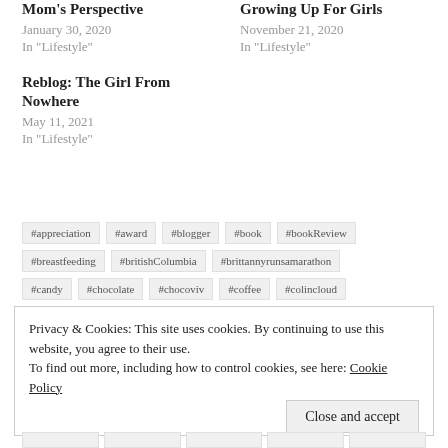Mom's Perspective
January 30, 2020
In "Lifestyle"
Growing Up For Girls
November 21, 2020
In "Lifestyle"
Reblog: The Girl From Nowhere
May 11, 2021
In "Lifestyle"
#appreciation
#award
#blogger
#book
#bookReview
#breastfeeding
#britishColumbia
#brittannyrunsamarathon
#candy
#chocolate
#chocoviv
#coffee
#colincloud
Privacy & Cookies: This site uses cookies. By continuing to use this website, you agree to their use.
To find out more, including how to control cookies, see here: Cookie Policy
Close and accept